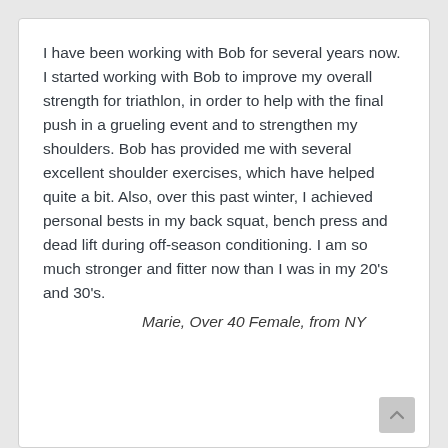I have been working with Bob for several years now. I started working with Bob to improve my overall strength for triathlon, in order to help with the final push in a grueling event and to strengthen my shoulders. Bob has provided me with several excellent shoulder exercises, which have helped quite a bit. Also, over this past winter, I achieved personal bests in my back squat, bench press and dead lift during off-season conditioning. I am so much stronger and fitter now than I was in my 20's and 30's.
Marie, Over 40 Female, from NY